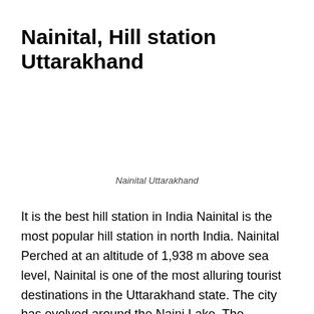Nainital, Hill station Uttarakhand
Nainital Uttarakhand
It is the best hill station in India Nainital is the most popular hill station in north India. Nainital Perched at an altitude of 1,938 m above sea level, Nainital is one of the most alluring tourist destinations in the Uttarakhand state. The city has evolved around the Naini Lake. The Summer capital of the erstwhile United Province, Nainital continues to be known as the 'lake